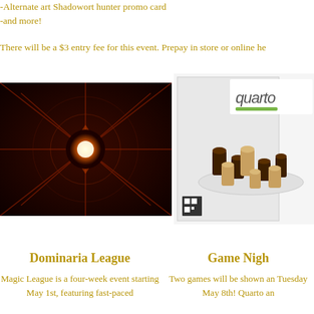-Alternate art Shadowort hunter promo card
-and more!
There will be a $3 entry fee for this event. Prepay in store or online he
[Figure (photo): Fantasy game art showing a glowing orb in a dark mechanical/mystical environment with orange-red lighting]
[Figure (photo): Quarto board game box showing wooden cylindrical and rectangular pieces in dark brown and light tan colors arranged on a white board]
Dominaria League
Magic League is a four-week event starting May 1st, featuring fast-paced
Game Nigh
Two games will be shown an Tuesday May 8th! Quarto an